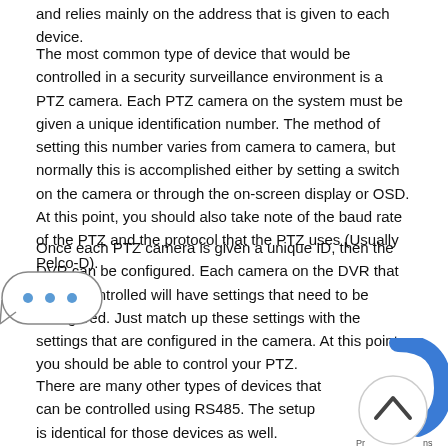and relies mainly on the address that is given to each device.
The most common type of device that would be controlled in a security surveillance environment is a PTZ camera. Each PTZ camera on the system must be given a unique identification number. The method of setting this number varies from camera to camera, but normally this is accomplished either by setting a switch on the camera or through the on-screen display or OSD. At this point, you should also take note of the baud rate of the PTZ and the protocol that the PTZ uses (Usually Pelco-D).
Once each PTZ camera is given a unique ID, then the DVR can be configured. Each camera on the DVR that will be controlled will have settings that need to be configured. Just match up these settings with the settings that are configured in the camera. At this point, you should be able to control your PTZ.
There are many other types of devices that can be controlled using RS485. The setup is identical for those devices as well.
[Figure (other): A speech bubble / tooltip popup icon with three dots indicating a menu or more options.]
[Figure (other): A scroll-to-top navigation button with an upward-pointing chevron icon, partially visible in the bottom-right corner.]